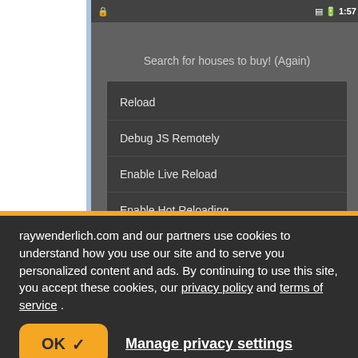[Figure (screenshot): Android phone screenshot showing a React Native developer menu with options: Reload, Debug JS Remotely, Enable Live Reload, Enable Hot Reloading. The app shows a search header 'Search for houses to buy! (Again)'. Status bar shows 1:57 time.]
raywenderlich.com and our partners use cookies to understand how you use our site and to serve you personalized content and ads. By continuing to use this site, you accept these cookies, our privacy policy and terms of service.
OK ✓
Manage privacy settings